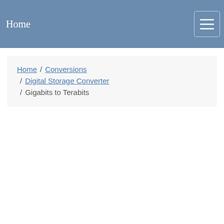Home
Home / Conversions / Digital Storage Converter / Gigabits to Terabits